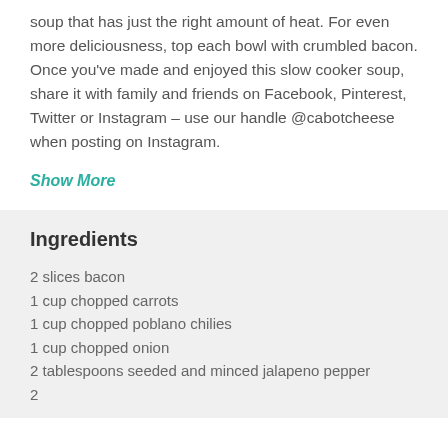soup that has just the right amount of heat. For even more deliciousness, top each bowl with crumbled bacon. Once you've made and enjoyed this slow cooker soup, share it with family and friends on Facebook, Pinterest, Twitter or Instagram – use our handle @cabotcheese when posting on Instagram.
Show More
Ingredients
2 slices bacon
1 cup chopped carrots
1 cup chopped poblano chilies
1 cup chopped onion
2 tablespoons seeded and minced jalapeno pepper
2 ...